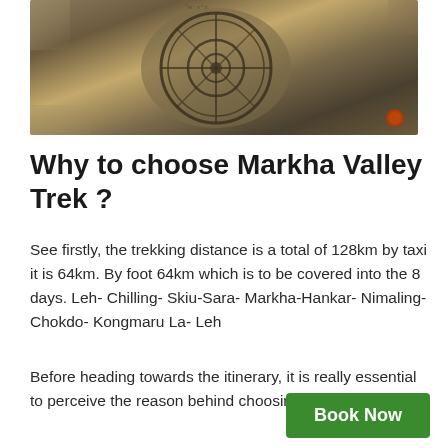[Figure (photo): Photograph of a stone carving with circular mandala/Buddhist prayer wheel design engraved on a flat rock, surrounded by other stones, outdoor setting.]
Why to choose Markha Valley Trek ?
See firstly, the trekking distance is a total of 128km by taxi it is 64km. By foot 64km which is to be covered into the 8 days. Leh- Chilling- Skiu-Sara- Markha-Hankar- Nimaling- Chokdo- Kongmaru La- Leh
Before heading towards the itinerary, it is really essential to perceive the reason behind choosing the Markha Valley